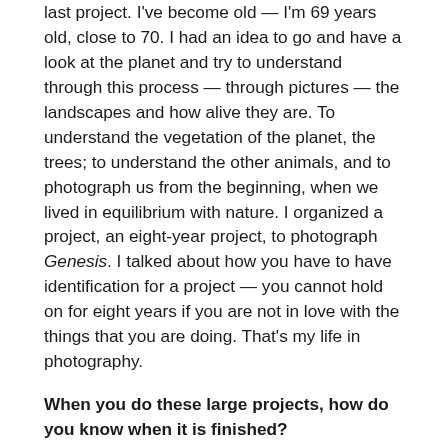last project. I've become old — I'm 69 years old, close to 70. I had an idea to go and have a look at the planet and try to understand through this process — through pictures — the landscapes and how alive they are. To understand the vegetation of the planet, the trees; to understand the other animals, and to photograph us from the beginning, when we lived in equilibrium with nature. I organized a project, an eight-year project, to photograph Genesis. I talked about how you have to have identification for a project — you cannot hold on for eight years if you are not in love with the things that you are doing. That's my life in photography.
When you do these large projects, how do you know when it is finished?
Well, I organize these projects like a guideline for a